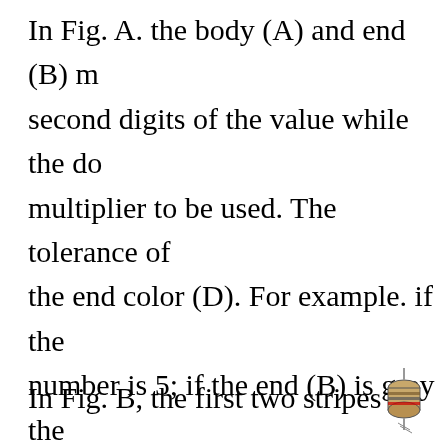In Fig. A. the body (A) and end (B) marks the first and second digits of the value while the dot (C) gives the multiplier to be used. The tolerance of the resistor is given by the end color (D). For example. if the body (A) is green the number is 5; if the end (B) is grey the second number is 8; if the dot (C) is red the multiplier is 100 and no tolerance color is added. The resistor is then a 5800 ohm resistor. If the end (D) has no color, the tolerance is ±20%.
In Fig. B, the first two stripes
[Figure (illustration): Small illustration of a resistor component shown at bottom right corner of the page]